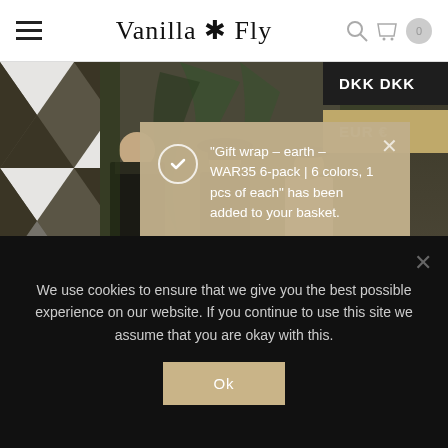Vanilla Fly
[Figure (photo): Artwork showing three men in formal suits and hats against a dark harlequin diamond pattern background with tropical plants]
DKK DKK
EUR €
"Gift wrap – earth – WAR35 6-pack | 6 colors, 1 pcs of each" has been added to your basket. View basket
We use cookies to ensure that we give you the best possible experience on our website. If you continue to use this site we assume that you are okay with this.
Ok